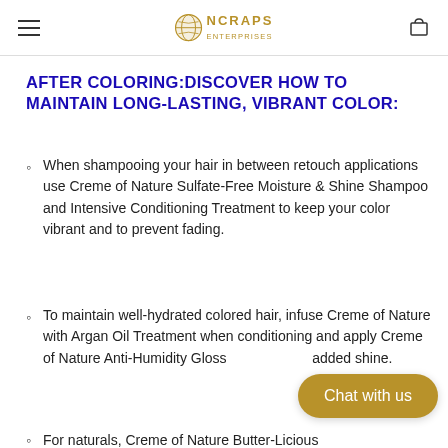NCRAPS [logo]
AFTER COLORING:DISCOVER HOW TO MAINTAIN LONG-LASTING, VIBRANT COLOR:
When shampooing your hair in between retouch applications use Creme of Nature Sulfate-Free Moisture & Shine Shampoo and Intensive Conditioning Treatment to keep your color vibrant and to prevent fading.
To maintain well-hydrated colored hair, infuse Creme of Nature with Argan Oil Treatment when conditioning and apply Creme of Nature Anti-Humidity Gloss … added shine.
For naturals, Creme of Nature Butter-Licious…